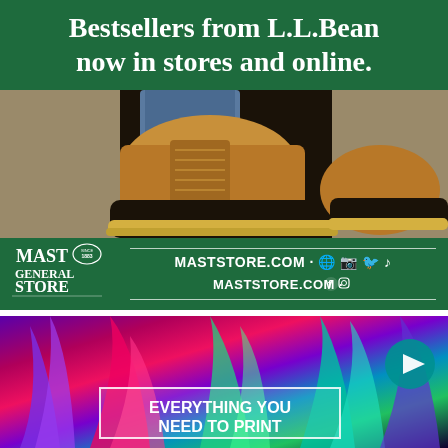Bestsellers from L.L.Bean now in stores and online.
[Figure (photo): Close-up photograph of L.L.Bean duck boots (moccasin-toe boots) in tan/brown leather with dark rubber lower, worn by a person standing in a wooden doorway or barn entrance]
[Figure (logo): Mast General Store logo in white with 'Since 1883' badge, alongside MASTSTORE.COM and social media icons for Facebook, Instagram, Twitter, TikTok on a dark green background]
[Figure (photo): Colorful illustration/advertisement with vibrant feathers in purple, red, green, teal colors on dark background with text 'EVERYTHING YOU NEED TO PRINT' in white bold text inside a white-bordered box, and a teal play button circle on the right]